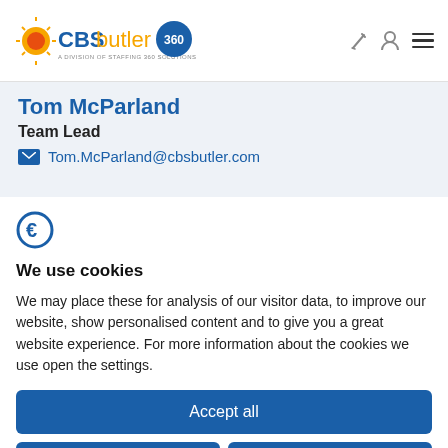[Figure (logo): CBSbutler 360 logo - a division of Staffing 360 Solutions]
Tom McParland
Team Lead
Tom.McParland@cbsbutler.com
[Figure (logo): Cookie consent logo (stylized C/euro icon)]
We use cookies
We may place these for analysis of our visitor data, to improve our website, show personalised content and to give you a great website experience. For more information about the cookies we use open the settings.
Accept all
Deny
Adjust